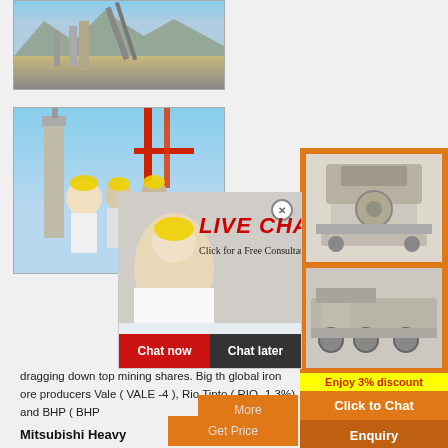[Figure (photo): Mining quarry with conveyor belt and heavy equipment against mountain backdrop]
[Figure (photo): Industrial plant with red structural elements against blue sky]
[Figure (photo): Live chat popup overlay with woman in hard hat - LIVE CHAT heading, Click for a Free Consultation, Chat now and Chat later buttons]
[Figure (photo): Orange right panel with mining crusher machine images, Enjoy 3% discount banner, Click to Chat button, Enquiry section, mumumugoods@gmail.com email]
dragging down top mining shares. Big th global iron ore producers Vale ( VALE -4 ), Rio Tinto ( RIO -1.3%) and BHP ( BHP
More
Get Price
Mitsubishi Heavy